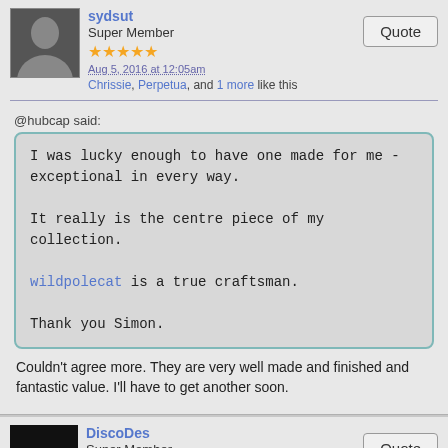sydsut
Super Member
★★★★★
Aug 5, 2016 at 12:05am
Chrissie, Perpetua, and 1 more like this
@hubcap said:
I was lucky enough to have one made for me - exceptional in every way.

It really is the centre piece of my collection.

wildpolecat is a true craftsman.

Thank you Simon.
Couldn't agree more. They are very well made and finished and fantastic value. I'll have to get another soon.
DiscoDes
Super Member
★★★★★
Aug 5, 2016 at 6:05am
wildpolecat likes this